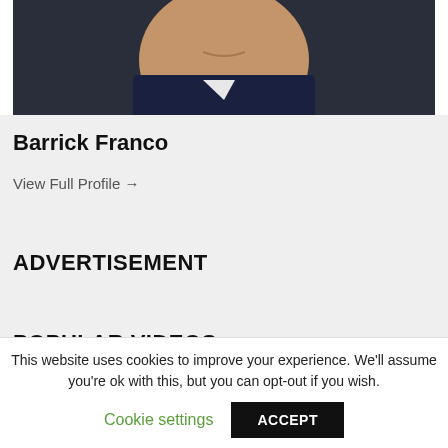[Figure (photo): Headshot photo of a man in a suit against dark background, cropped to show lower face and shoulders]
Barrick Franco
View Full Profile →
ADVERTISEMENT
POPULAR VIDEOS
This website uses cookies to improve your experience. We'll assume you're ok with this, but you can opt-out if you wish.
Cookie settings
ACCEPT